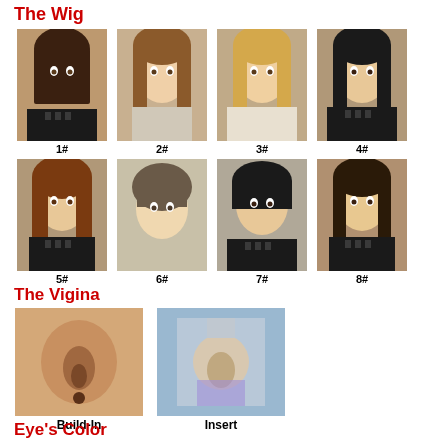The Wig
[Figure (photo): 8 wig style options for doll, numbered 1# through 8#, shown in two rows of four]
The Vigina
[Figure (photo): Two vagina options: Build-In and Insert]
Eye's Color